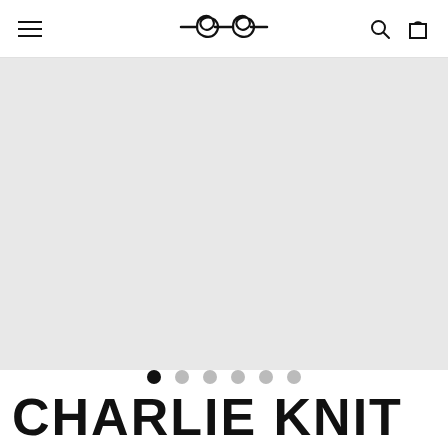Navigation header with hamburger menu, logo, search icon, and cart icon
[Figure (photo): Product image area — light gray placeholder background representing a product photo carousel]
Carousel navigation dots — 6 dots, first dot active (dark), remaining 5 gray
CHARLIE KNIT